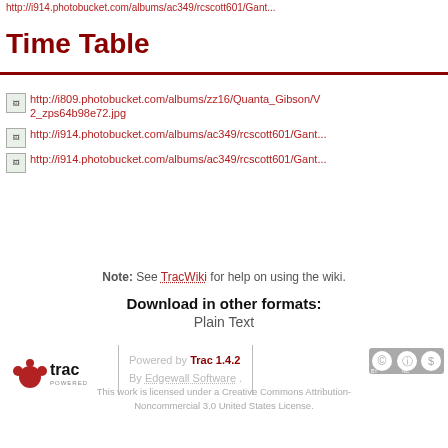http://i914.photobucket.com/albums/ac349/rcscott601/Gant...
Time Table
http://i809.photobucket.com/albums/zz16/Quanta_Gibson/V 2_zps64b98e72.jpg
http://i914.photobucket.com/albums/ac349/rcscott601/Gant...
http://i914.photobucket.com/albums/ac349/rcscott601/Gant...
Note: See TracWiki for help on using the wiki.
Download in other formats:
Plain Text
Powered by Trac 1.4.2 By Edgewall Software . This work is licensed under a Creative Commons Attribution-Noncommercial 3.0 United States License